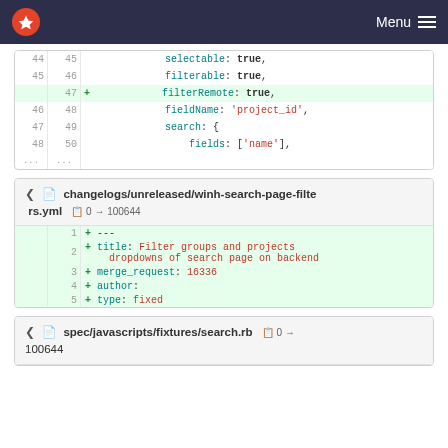Menu
[Figure (screenshot): Code diff showing lines 44-50 with added filterRemote: true line]
changelogs/unreleased/winh-search-page-filters.yml  0 → 100644
[Figure (screenshot): Code diff for changelog YAML file with 5 added lines]
spec/javascripts/fixtures/search.rb  0 → 100644